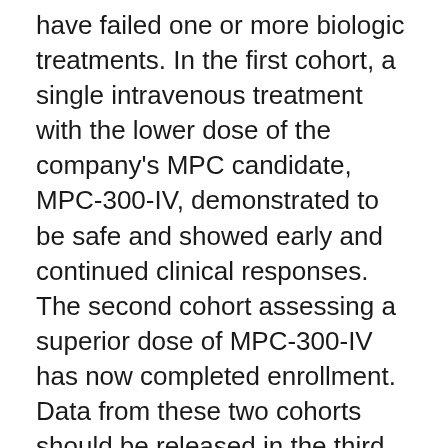have failed one or more biologic treatments. In the first cohort, a single intravenous treatment with the lower dose of the company's MPC candidate, MPC-300-IV, demonstrated to be safe and showed early and continued clinical responses. The second cohort assessing a superior dose of MPC-300-IV has now completed enrollment. Data from these two cohorts should be released in the third quarter of 2016.
MPC-300-IV is an intravenously-delivered immunomodulatory product candidate for the treatment of chronic inflammatory conditions, including biologic-refractory...